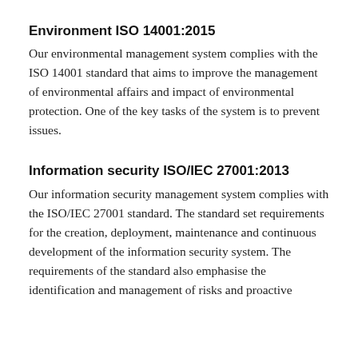Environment ISO 14001:2015
Our environmental management system complies with the ISO 14001 standard that aims to improve the management of environmental affairs and impact of environmental protection. One of the key tasks of the system is to prevent issues.
Information security ISO/IEC 27001:2013
Our information security management system complies with the ISO/IEC 27001 standard. The standard set requirements for the creation, deployment, maintenance and continuous development of the information security system. The requirements of the standard also emphasise the identification and management of risks and proactive...